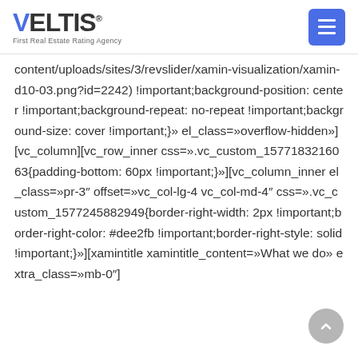VELTIS - First Real Estate Rating Agency
content/uploads/sites/3/revslider/xamin-visualization/xamin-d10-03.png?id=2242) !important;background-position: center !important;background-repeat: no-repeat !important;background-size: cover !important;}» el_class=»overflow-hidden»][vc_column][vc_row_inner css=».vc_custom_1577183216063{padding-bottom: 60px !important;}»][vc_column_inner el_class=»pr-3″ offset=»vc_col-lg-4 vc_col-md-4″ css=».vc_custom_1577245882949{border-right-width: 2px !important;border-right-color: #dee2fb !important;border-right-style: solid !important;}»][xamintitle xamintitle_content=»What we do» extra_class=»mb-0″]